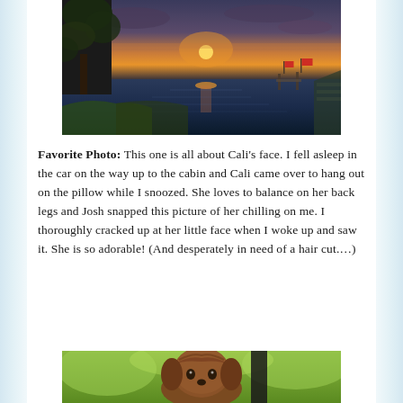[Figure (photo): Sunset over a lake with trees in foreground and dock/flags in background]
Favorite Photo: This one is all about Cali's face. I fell asleep in the car on the way up to the cabin and Cali came over to hang out on the pillow while I snoozed. She loves to balance on her back legs and Josh snapped this picture of her chilling on me. I thoroughly cracked up at her little face when I woke up and saw it. She is so adorable! (And desperately in need of a hair cut.…)
[Figure (photo): A small fluffy dog (Cali) with brown fur looking at camera outdoors with green foliage in background]